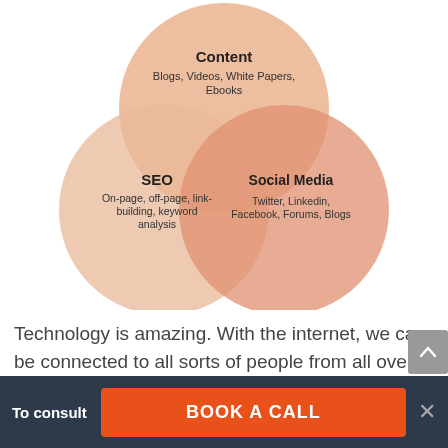[Figure (infographic): Venn diagram with three overlapping circles: Content (top, salmon/orange, 'Blogs, Videos, White Papers, Ebooks'), SEO (bottom-left, light salmon, 'On-page, off-page, link-building, keyword analysis'), Social Media (bottom-right, salmon, 'Twitter, Linkedin, Facebook, Forums, Blogs')]
Technology is amazing. With the internet, we can be connected to all sorts of people from all over the world with a click of a button. Every day, it seems that the world is getting smaller